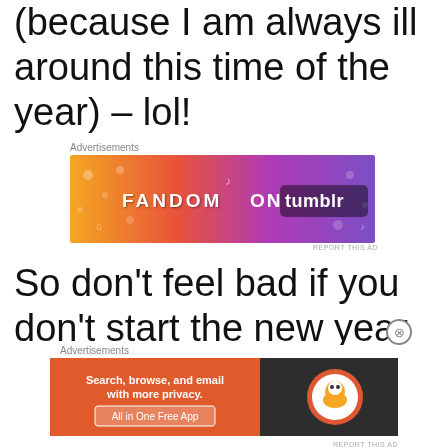(because I am always ill around this time of the year) – lol!
[Figure (other): Advertisement banner: FANDOM ON tumblr – colorful gradient banner with music and fandom icons]
So don't feel bad if you don't start the new year – New, because it is not the only chance you have
[Figure (other): Advertisement banner: DuckDuckGo – Search, browse, and email with more privacy. All in One Free App]